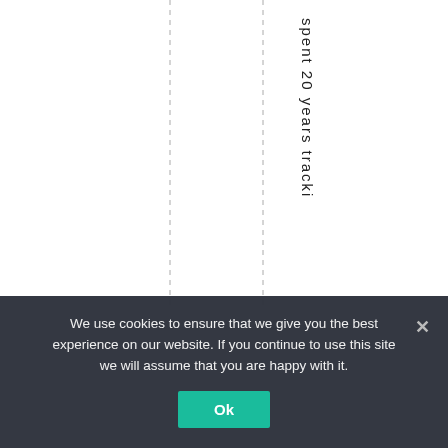[Figure (other): White background with two vertical dashed lines and vertical text reading 'spent 20 years tracking' running down the right side of the page]
We use cookies to ensure that we give you the best experience on our website. If you continue to use this site we will assume that you are happy with it.